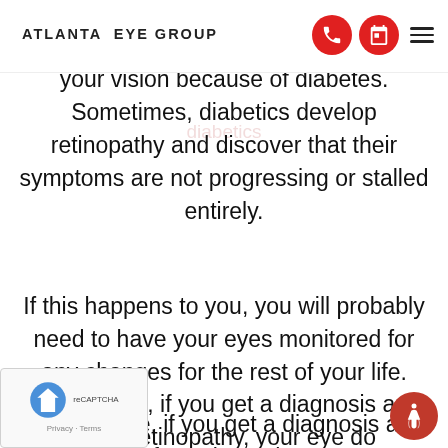ATLANTA EYE GROUP
your vision because of diabetes. Sometimes, diabetics develop retinopathy and discover that their symptoms are not progressing or stalled entirely.
If this happens to you, you will probably need to have your eyes monitored for any changes for the rest of your life.
Furthermore, if you get a diagnosis and treatment for retinopathy, your eye doctor may recommend several eye exams every